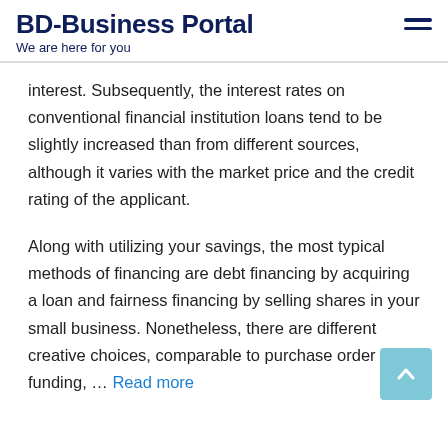BD-Business Portal
We are here for you
interest. Subsequently, the interest rates on conventional financial institution loans tend to be slightly increased than from different sources, although it varies with the market price and the credit rating of the applicant.
Along with utilizing your savings, the most typical methods of financing are debt financing by acquiring a loan and fairness financing by selling shares in your small business. Nonetheless, there are different creative choices, comparable to purchase order funding, … Read more